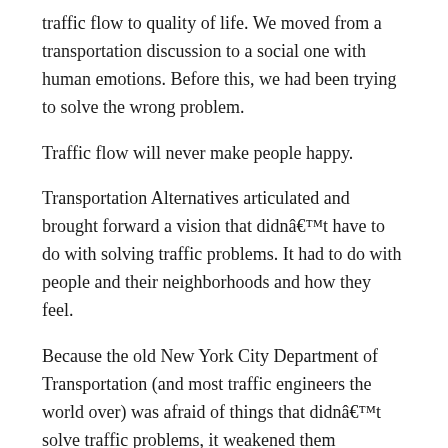traffic flow to quality of life. We moved from a transportation discussion to a social one with human emotions. Before this, we had been trying to solve the wrong problem.
Traffic flow will never make people happy.
Transportation Alternatives articulated and brought forward a vision that didnâ€™t have to do with solving traffic problems. It had to do with people and their neighborhoods and how they feel.
Because the old New York City Department of Transportation (and most traffic engineers the world over) was afraid of things that didnâ€™t solve traffic problems, it weakened them politically to not be able to talk about streets and social issues and quality of life.